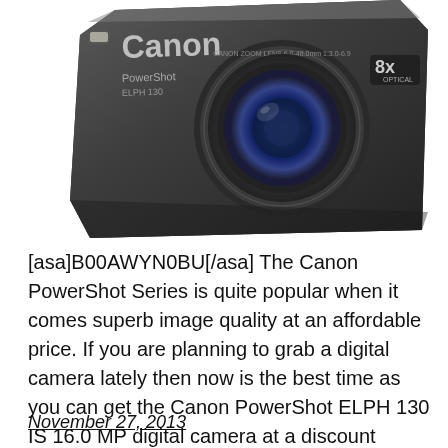[Figure (photo): Canon PowerShot ELPH 130 IS digital camera, dark grey/black body, shown at an angle from above, with Canon and PowerShot branding visible, 8x optical zoom marking on the right side, large lens in center]
[asa]B00AWYN0BU[/asa] The Canon PowerShot Series is quite popular when it comes superb image quality at an affordable price. If you are planning to grab a digital camera lately then now is the best time as you can get the Canon PowerShot ELPH 130 IS 16.0 MP digital camera at a discount price, click here for […]
November 27, 2013